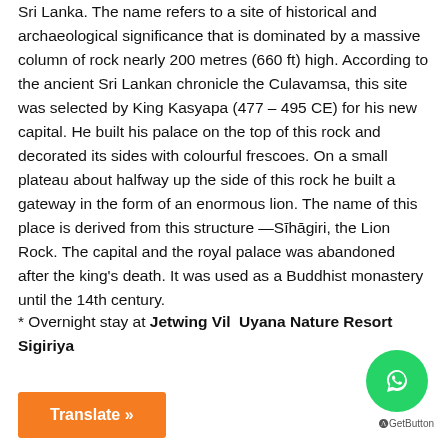Sri Lanka. The name refers to a site of historical and archaeological significance that is dominated by a massive column of rock nearly 200 metres (660 ft) high. According to the ancient Sri Lankan chronicle the Culavamsa, this site was selected by King Kasyapa (477 – 495 CE) for his new capital. He built his palace on the top of this rock and decorated its sides with colourful frescoes. On a small plateau about halfway up the side of this rock he built a gateway in the form of an enormous lion. The name of this place is derived from this structure —Sīhāgiri, the Lion Rock. The capital and the royal palace was abandoned after the king's death. It was used as a Buddhist monastery until the 14th century.
* Overnight stay at Jetwing Vil  Uyana Nature Resort Sigiriya